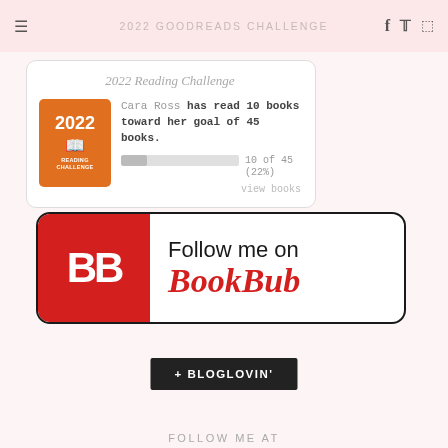2022 GOODREADS CHALLENGE
[Figure (infographic): 2022 Goodreads Reading Challenge widget. Cara Ross has read 10 books toward her goal of 45 books. Shows a progress bar at 22% complete. Text: 10 of 45 (22%). view books link. Orange 2022 Reading Challenge badge on the left.]
[Figure (logo): Follow me on BookBub button. Red square with white BB letters on left, black text 'Follow me on' and red italic 'BookBub' on right, all inside rounded rectangle border.]
[Figure (infographic): + BLOGLOVIN' button in dark/black background with white uppercase text.]
FOLLOW ME AT